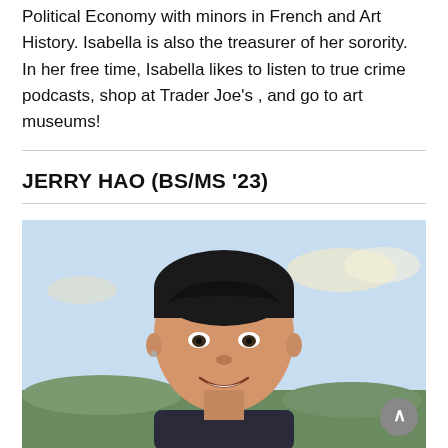Political Economy with minors in French and Art History. Isabella is also the treasurer of her sorority. In her free time, Isabella likes to listen to true crime podcasts, shop at Trader Joe's , and go to art museums!
JERRY HAO (BS/MS '23)
[Figure (photo): Portrait photo of Jerry Hao, a young man smiling, outdoors with sky and greenery in background.]